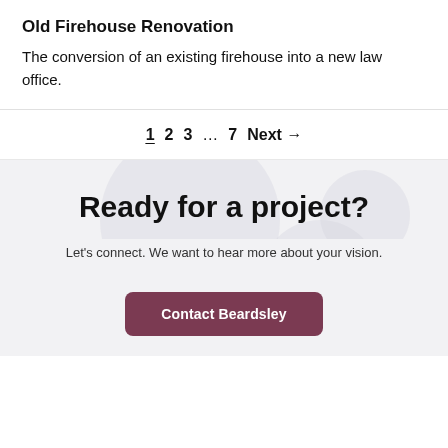Old Firehouse Renovation
The conversion of an existing firehouse into a new law office.
1  2  3  …  7  Next →
Ready for a project?
Let's connect. We want to hear more about your vision.
Contact Beardsley